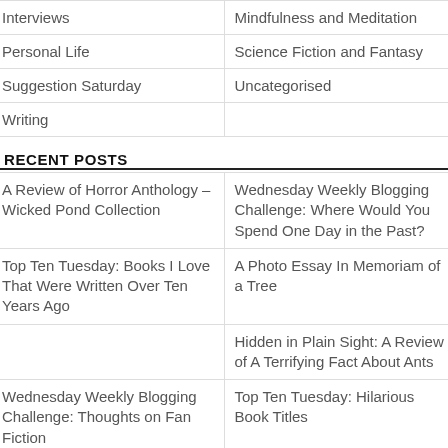| Interviews | Mindfulness and Meditation |
| Personal Life | Science Fiction and Fantasy |
| Suggestion Saturday | Uncategorised |
| Writing |  |
RECENT POSTS
| A Review of Horror Anthology – Wicked Pond Collection | Wednesday Weekly Blogging Challenge: Where Would You Spend One Day in the Past? |
| Top Ten Tuesday: Books I Love That Were Written Over Ten Years Ago | A Photo Essay In Memoriam of a Tree |
|  | Hidden in Plain Sight: A Review of A Terrifying Fact About Ants |
| Wednesday Weekly Blogging Challenge: Thoughts on Fan Fiction | Top Ten Tuesday: Hilarious Book Titles |